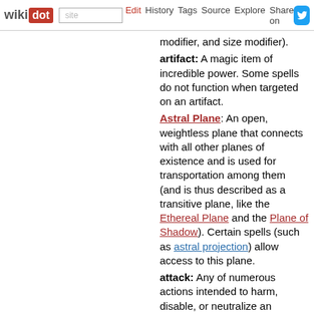wikidot | site | Edit | History | Tags | Source | Explore | Share on [twitter]
modifier, and size modifier).
artifact: A magic item of incredible power. Some spells do not function when targeted on an artifact.
Astral Plane: An open, weightless plane that connects with all other planes of existence and is used for transportation among them (and is thus described as a transitive plane, like the Ethereal Plane and the Plane of Shadow). Certain spells (such as astral projection) allow access to this plane.
attack: Any of numerous actions intended to harm, disable, or neutralize an opponent. The outcome of an attack is determined by an attack roll.
attack of opportunity: A single extra melee attack per round that a combatant can make when an